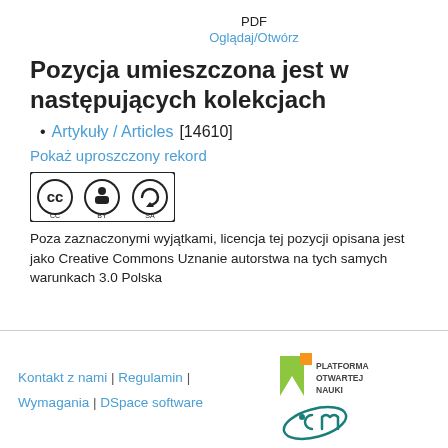PDF
Oglądaj/Otwórz
Pozycja umieszczona jest w następujących kolekcjach
Artykuły / Articles [14610]
Pokaż uproszczony rekord
[Figure (logo): Creative Commons BY-SA license badge]
Poza zaznaczonymi wyjątkami, licencja tej pozycji opisana jest jako Creative Commons Uznanie autorstwa na tych samych warunkach 3.0 Polska
Kontakt z nami | Regulamin | Wymagania | DSpace software
[Figure (logo): Platforma Otwartej Nauki / ICM logo]